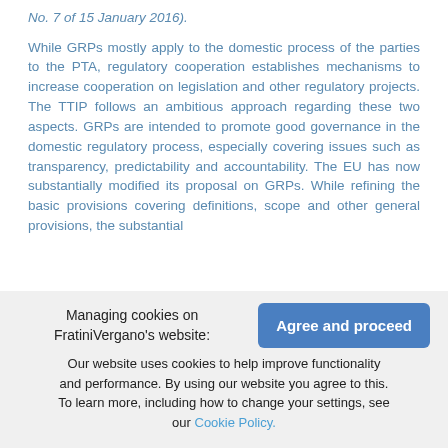No. 7 of 15 January 2016).
While GRPs mostly apply to the domestic process of the parties to the PTA, regulatory cooperation establishes mechanisms to increase cooperation on legislation and other regulatory projects. The TTIP follows an ambitious approach regarding these two aspects. GRPs are intended to promote good governance in the domestic regulatory process, especially covering issues such as transparency, predictability and accountability. The EU has now substantially modified its proposal on GRPs. While refining the basic provisions covering definitions, scope and other general provisions, the substantial
Managing cookies on FratiniVergano's website: Our website uses cookies to help improve functionality and performance. By using our website you agree to this. To learn more, including how to change your settings, see our Cookie Policy.